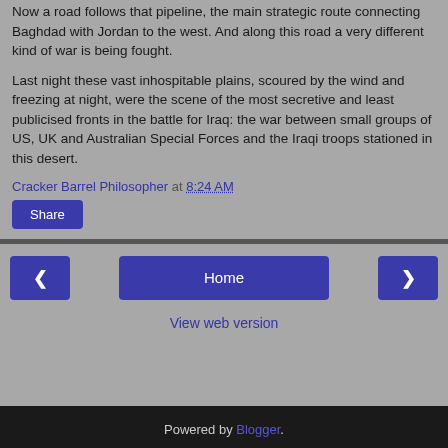Now a road follows that pipeline, the main strategic route connecting Baghdad with Jordan to the west. And along this road a very different kind of war is being fought.
Last night these vast inhospitable plains, scoured by the wind and freezing at night, were the scene of the most secretive and least publicised fronts in the battle for Iraq: the war between small groups of US, UK and Australian Special Forces and the Iraqi troops stationed in this desert.
Cracker Barrel Philosopher at 8:24 AM
Share
Home
View web version
Powered by Blogger.